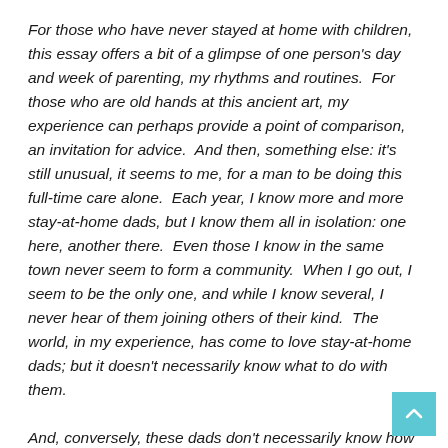For those who have never stayed at home with children, this essay offers a bit of a glimpse of one person's day and week of parenting, my rhythms and routines.  For those who are old hands at this ancient art, my experience can perhaps provide a point of comparison, an invitation for advice.  And then, something else: it's still unusual, it seems to me, for a man to be doing this full-time care alone.  Each year, I know more and more stay-at-home dads, but I know them all in isolation: one here, another there.  Even those I know in the same town never seem to form a community.  When I go out, I seem to be the only one, and while I know several, I never hear of them joining others of their kind.  The world, in my experience, has come to love stay-at-home dads; but it doesn't necessarily know what to do with them.

And, conversely, these dads don't necessarily know how to